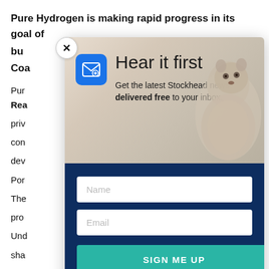Pure Hydrogen is making rapid progress in its goal of bu... ast Coa...
Pur... Rea...
priv... con... dev... Por...
The... pro...
Und... sha...
Por...
[Figure (screenshot): Newsletter signup modal with close button, groundhog image, 'Hear it first' heading, subtitle 'Get the latest Stockhead news delivered free to your inbox.', Name input, Email input, and SIGN ME UP button on navy background.]